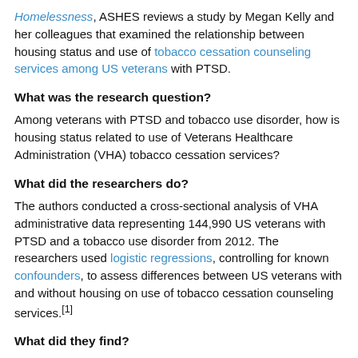Homelessness, ASHES reviews a study by Megan Kelly and her colleagues that examined the relationship between housing status and use of tobacco cessation counseling services among US veterans with PTSD.
What was the research question?
Among veterans with PTSD and tobacco use disorder, how is housing status related to use of Veterans Healthcare Administration (VHA) tobacco cessation services?
What did the researchers do?
The authors conducted a cross-sectional analysis of VHA administrative data representing 144,990 US veterans with PTSD and a tobacco use disorder from 2012. The researchers used logistic regressions, controlling for known confounders, to assess differences between US veterans with and without housing on use of tobacco cessation counseling services.[1]
What did they find?
During 2012, 12.8% of US veterans with PTSD and a tobacco use disorder in the VHA system reported being homeless. During that same time period, 5.5% of US veterans with PTSD and a tobacco